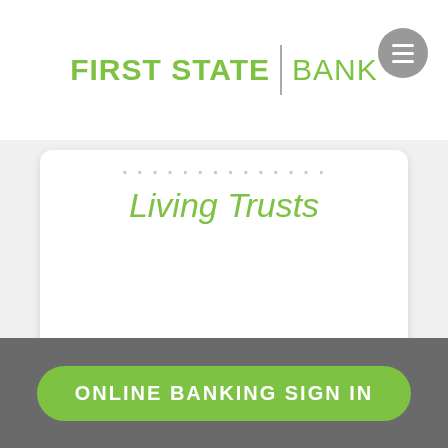FIRST STATE | BANK
Living Trusts
[Figure (illustration): Chain link icon inside a light grey circle, rendered as a green outline icon]
ONLINE BANKING SIGN IN